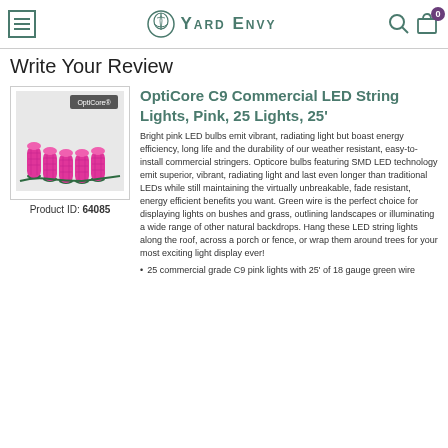Yard Envy
Write Your Review
[Figure (photo): Pink C9 LED string lights (OptiCore) shown against a light background with OptiCore logo badge]
Product ID: 64085
OptiCore C9 Commercial LED String Lights, Pink, 25 Lights, 25'
Bright pink LED bulbs emit vibrant, radiating light but boast energy efficiency, long life and the durability of our weather resistant, easy-to-install commercial stringers. Opticore bulbs featuring SMD LED technology emit superior, vibrant, radiating light and last even longer than traditional LEDs while still maintaining the virtually unbreakable, fade resistant, energy efficient benefits you want. Green wire is the perfect choice for displaying lights on bushes and grass, outlining landscapes or illuminating a wide range of other natural backdrops. Hang these LED string lights along the roof, across a porch or fence, or wrap them around trees for your most exciting light display ever!
25 commercial grade C9 pink lights with 25' of 18 gauge green wire